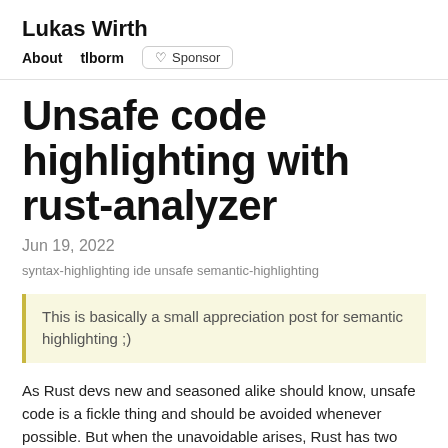Lukas Wirth
About   tlborm   ♡ Sponsor
Unsafe code highlighting with rust-analyzer
Jun 19, 2022
syntax-highlighting ide unsafe semantic-highlighting
This is basically a small appreciation post for semantic highlighting ;)
As Rust devs new and seasoned alike should know, unsafe code is a fickle thing and should be avoided whenever possible. But when the unavoidable arises, Rust has two main tools to...